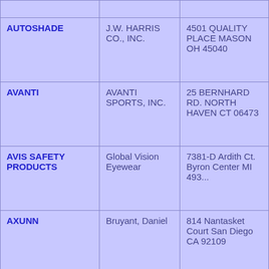| AUTOSHADE | J.W. HARRIS CO., INC. | 4501 QUALITY PLACE MASON OH 45040 |
| AVANTI | AVANTI SPORTS, INC. | 25 BERNHARD RD. NORTH HAVEN CT 06473 |
| AVIS SAFETY PRODUCTS | Global Vision Eyewear | 7381-D Ardith Ct. Byron Center MI 493... |
| AXUNN | Bruyant, Daniel | 814 Nantasket Court San Diego CA 92109 |
| AZTEC | Pyramex Safety Products, LLC | 281-A Moore Lane Collierville TN 38017 |